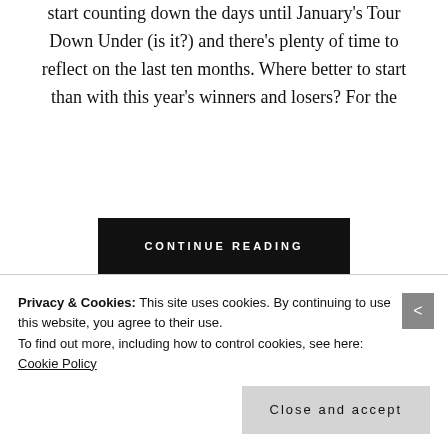start counting down the days until January's Tour Down Under (is it?) and there's plenty of time to reflect on the last ten months. Where better to start than with this year's winners and losers? For the
CONTINUE READING
2 comments
Privacy & Cookies: This site uses cookies. By continuing to use this website, you agree to their use.
To find out more, including how to control cookies, see here: Cookie Policy
Close and accept